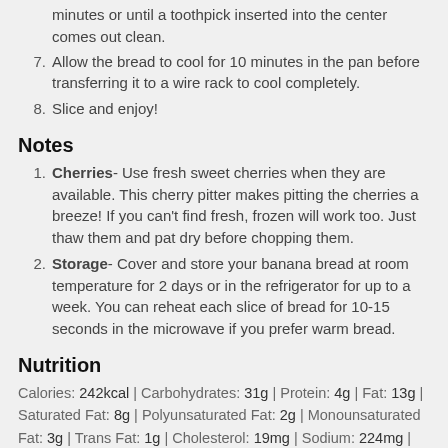minutes or until a toothpick inserted into the center comes out clean.
7. Allow the bread to cool for 10 minutes in the pan before transferring it to a wire rack to cool completely.
8. Slice and enjoy!
Notes
1. Cherries- Use fresh sweet cherries when they are available. This cherry pitter makes pitting the cherries a breeze! If you can't find fresh, frozen will work too. Just thaw them and pat dry before chopping them.
2. Storage- Cover and store your banana bread at room temperature for 2 days or in the refrigerator for up to a week. You can reheat each slice of bread for 10-15 seconds in the microwave if you prefer warm bread.
Nutrition
Calories: 242kcal | Carbohydrates: 31g | Protein: 4g | Fat: 13g | Saturated Fat: 8g | Polyunsaturated Fat: 2g | Monounsaturated Fat: 3g | Trans Fat: 1g | Cholesterol: 19mg | Sodium: 224mg | Potassium: 303mg | Fiber: 4g | Sugar: 11g | Vitamin A: 58IU |